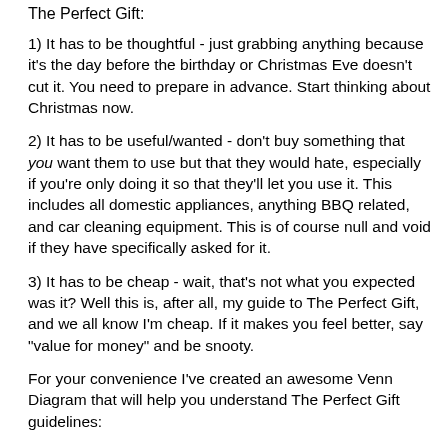The Perfect Gift:
1) It has to be thoughtful - just grabbing anything because it's the day before the birthday or Christmas Eve doesn't cut it. You need to prepare in advance. Start thinking about Christmas now.
2) It has to be useful/wanted - don't buy something that you want them to use but that they would hate, especially if you're only doing it so that they'll let you use it. This includes all domestic appliances, anything BBQ related, and car cleaning equipment. This is of course null and void if they have specifically asked for it.
3) It has to be cheap - wait, that's not what you expected was it? Well this is, after all, my guide to The Perfect Gift, and we all know I'm cheap. If it makes you feel better, say "value for money" and be snooty.
For your convenience I've created an awesome Venn Diagram that will help you understand The Perfect Gift guidelines: